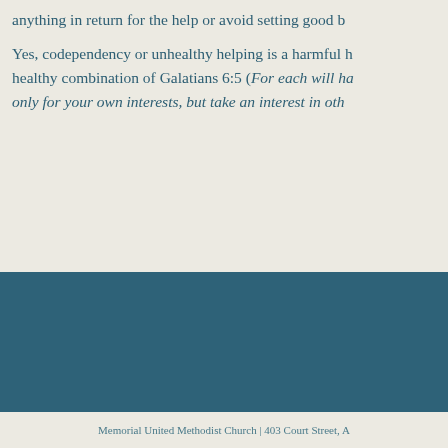anything in return for the help or avoid setting good bo...
Yes, codependency or unhealthy helping is a harmful h... healthy combination of Galatians 6:5 (For each will ha... only for your own interests, but take an interest in oth...
[Figure (other): Solid teal/dark blue-green decorative band across the lower portion of the page]
Memorial United Methodist Church | 403 Court Street, A...